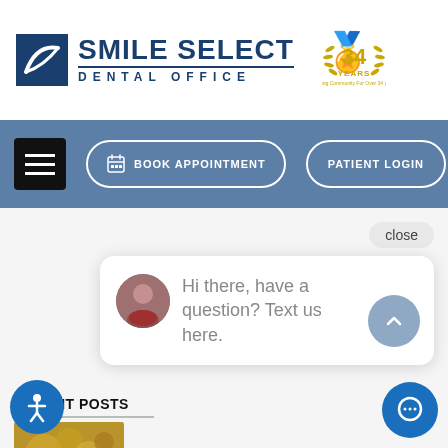[Figure (logo): Smile Select Dental Office logo with stylized tooth/swoosh icon in dark blue square, text 'SMILE SELECT' and 'DENTAL OFFICE', and a gold laurel wreath '34 YEARS' anniversary badge]
[Figure (screenshot): Navigation bar with hamburger menu icon, 'BOOK APPOINTMENT' button with calendar icon, and 'PATIENT LOGIN' button, all on steel blue background]
[Figure (screenshot): Chat widget popup showing avatar of a woman, text 'Hi there, have a question? Text us here.' with a collapse arrow button, and a 'close' button above]
RECENT POSTS
[Figure (photo): Thumbnail of decorative floral/food arrangement in gold/brown tones]
[Figure (photo): Thumbnail of dental staff or patient in clinic setting]
WHAT IS TOOTH EXTRACTION,...
1 month ago
[Figure (illustration): Blue circular accessibility icon with person symbol]
[Figure (illustration): Blue circular chat/message FAB button]